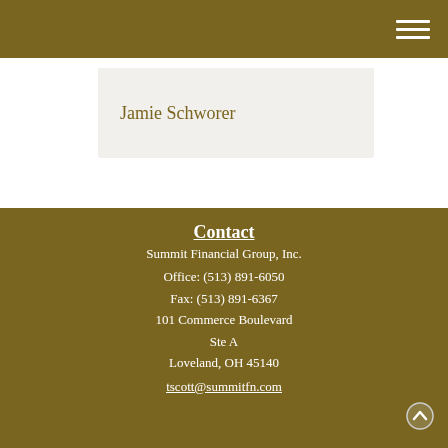Jamie Schworer
Contact
Summit Financial Group, Inc.
Office: (513) 891-6050
Fax: (513) 891-6367
101 Commerce Boulevard
Ste A
Loveland, OH 45140
tscott@summitfn.com